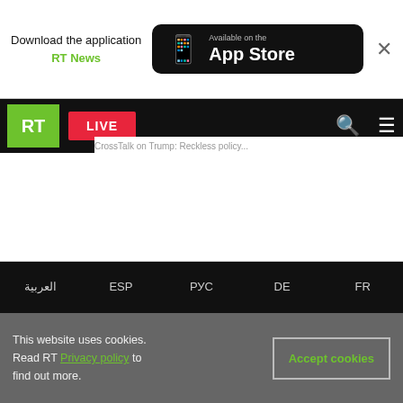[Figure (screenshot): RT news website mobile screenshot showing app store download banner, navigation bar with RT logo and LIVE button, footer with language options (العربية, ESP, РУС, DE, FR), brand logos (ИНО TV, RTD, RUPTLY), social media icons, RT News App and RT Shop buttons, and a cookie consent bar.]
Download the application RT News
Available on the App Store
LIVE
العربية  ESP  РУС  DE  FR
ИНО TV  RTD  RUPTLY
RT News App
RT SHOP
This website uses cookies. Read RT Privacy policy to find out more.
Accept cookies